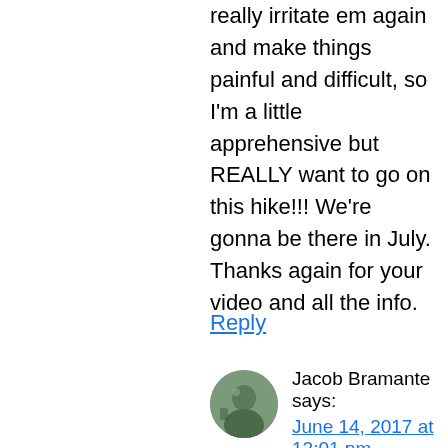really irritate em again and make things painful and difficult, so I'm a little apprehensive but REALLY want to go on this hike!!! We're gonna be there in July.
Thanks again for your video and all the info.
Reply
Jacob Bramante says:
June 14, 2017 at 12:01 pm